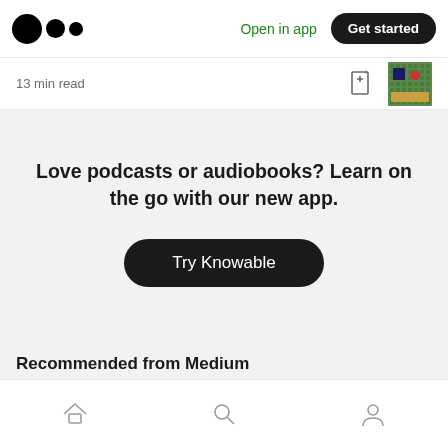Medium logo | Open in app | Get started
13 min read
Love podcasts or audiobooks? Learn on the go with our new app.
Try Knowable
Recommended from Medium
Home | Search | Profile